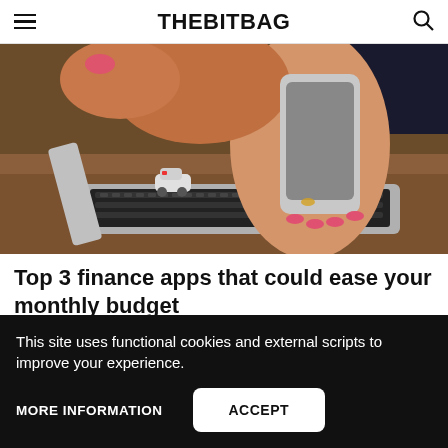THEBITBAG
[Figure (photo): Close-up of a woman's hands holding a smartphone over a laptop keyboard on a wooden desk, with a small toy car visible to the left.]
Top 3 finance apps that could ease your monthly budget
This site uses functional cookies and external scripts to improve your experience.
MORE INFORMATION
ACCEPT